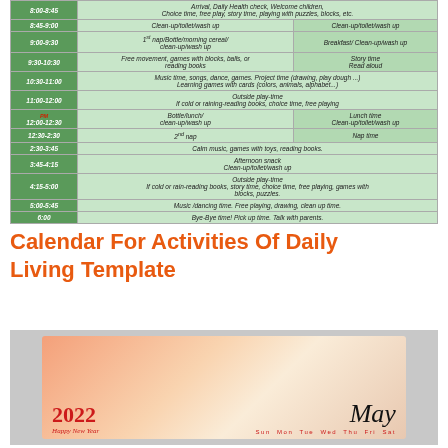| Time | Activity |
| --- | --- |
| 8:00-8:45 | Arrival, Daily Health check, Welcome children, Choice time, free play, story time, playing with puzzles, blocks, etc. |
| 8:45-9:00 | Clean-up/toilet/wash up | Clean-up/toilet/wash up |
| 9:00-9:30 | 1st nap/Bottle/morning cereal/ clean-up/wash up | Breakfast/ Clean-up/wash up |
| 9:30-10:30 | Free movement, games with blocks, balls, or reading books | Story time Read aloud |
| 10:30-11:00 | Music time, songs, dance, games. Project time (drawing, play dough ...) Learning games with cards (colors, animals, alphabet...) |
| 11:00-12:00 | Outside play-time If cold or raining-reading books, choice time, free playing |
| PM 12:00-12:30 | Bottle/lunch/ clean-up/wash up | Lunch time Clean-up/toilet/wash up |
| 12:30-2:30 | 2nd nap | Nap time |
| 2:30-3:45 | Calm music, games with toys, reading books. |
| 3:45-4:15 | Afternoon snack Clean-up/toilet/wash up |
| 4:15-5:00 | Outside play-time If cold or rain-reading books, story time, choice time, free playing, games with blocks, puzzles. |
| 5:00-5:45 | Music /dancing time. Free playing, drawing, clean up time. |
| 6:00 | Bye-Bye time! Pick up time. Talk with parents. |
Calendar For Activities Of Daily Living Template
[Figure (photo): A May 2022 calendar with watercolor background in warm orange and pink tones. Shows '2022 Happy New Year' on the left and 'May' in cursive on the right, with day headers Sun Mon Tue Wed Thu Fri Sat at the bottom in red.]